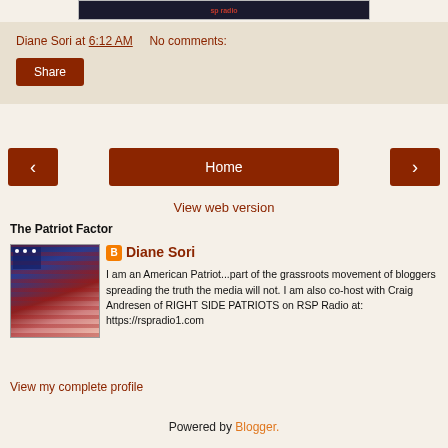[Figure (photo): Top image strip showing partial blog header/banner with dark background and red text]
Diane Sori at 6:12 AM   No comments:
Share
‹   Home   ›
View web version
The Patriot Factor
[Figure (photo): Profile photo of Diane Sori with American flag face paint overlay]
Diane Sori
I am an American Patriot...part of the grassroots movement of bloggers spreading the truth the media will not. I am also co-host with Craig Andresen of RIGHT SIDE PATRIOTS on RSP Radio at: https://rspradio1.com
View my complete profile
Powered by Blogger.